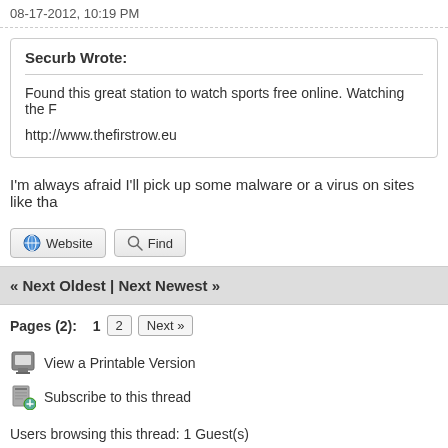08-17-2012, 10:19 PM
Securb Wrote:
Found this great station to watch sports free online. Watching the F
http://www.thefirstrow.eu
I'm always afraid I'll pick up some malware or a virus on sites like tha
« Next Oldest | Next Newest »
Pages (2):  1  2  Next »
View a Printable Version
Subscribe to this thread
Users browsing this thread: 1 Guest(s)